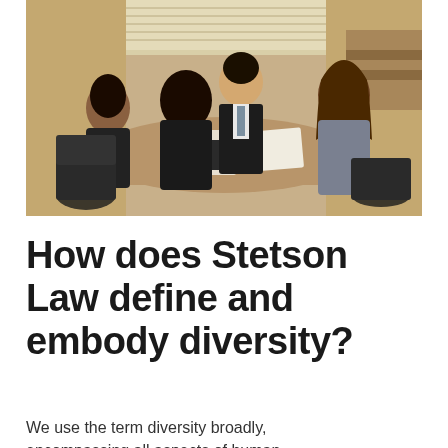[Figure (photo): Four people seated around a conference table in what appears to be a courtroom or formal meeting room. A man in a suit and tie sits across from three women, with papers and a folder on the table. Wooden benches and a window with blinds are visible in the background.]
How does Stetson Law define and embody diversity?
We use the term diversity broadly, encompassing all aspects of human